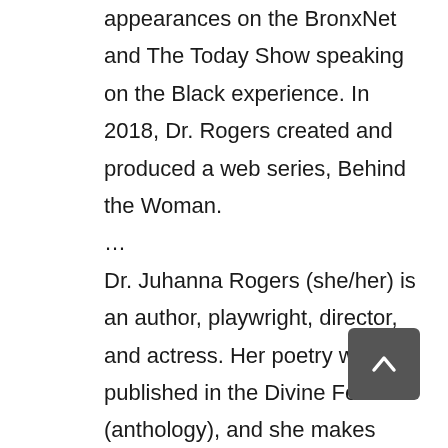appearances on the BronxNet and The Today Show speaking on the Black experience. In 2018, Dr. Rogers created and produced a web series, Behind the Woman. ...
Dr. Juhanna Rogers (she/her) is an author, playwright, director, and actress. Her poetry was published in the Divine Feminist (anthology), and she makes regular appearances on the BronxNet and The Today Show speaking on the Black experience. In 2018, Dr. Rogers created and produced a web series, Behind the Woman. In 2019, the show was picked up and Juhanna became creator, executive